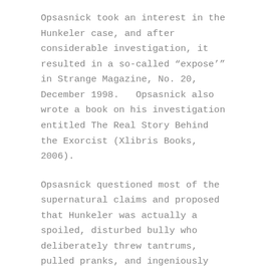Opsasnick took an interest in the Hunkeler case, and after considerable investigation, it resulted in a so-called "expose'" in Strange Magazine, No. 20, December 1998.   Opsasnick also wrote a book on his investigation entitled The Real Story Behind the Exorcist (Xlibris Books, 2006).
Opsasnick questioned most of the supernatural claims and proposed that Hunkeler was actually a spoiled, disturbed bully who deliberately threw tantrums, pulled pranks, and ingeniously fooled a lot of people {1}.   He tried to locate substantive accounts of Father Edward Hughes having performed an exorcism, and could not find any.   Likewise, when collecting accounts by Father Walter Holloran, concluded that Holloran did not witness many of the things people say; did not hear strange voices from